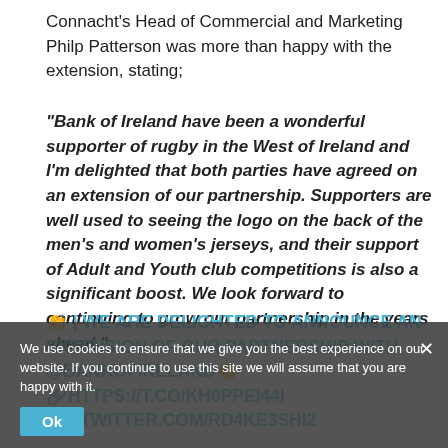Connacht's Head of Commercial and Marketing Philp Patterson was more than happy with the extension, stating;
“Bank of Ireland have been a wonderful supporter of rugby in the West of Ireland and I’m delighted that both parties have agreed on an extension of our partnership. Supporters are well used to seeing the logo on the back of the men’s and women’s jerseys, and their support of Adult and Youth club competitions is also a significant boost. We look forward to continuing to grow our partnership in the years ahead.”
👏 | WE ARE DELIGHTED TO ANNOUNCE AN EXTENSION OF OUR PARTNERSHIP WITH @BANKOFIRELAND👏 🔗HTTPS://T.CO/KH0PPEI44I PIC.TWITTER.COM/RD4KE3SHI2
We use cookies to ensure that we give you the best experience on our website. If you continue to use this site we will assume that you are happy with it.